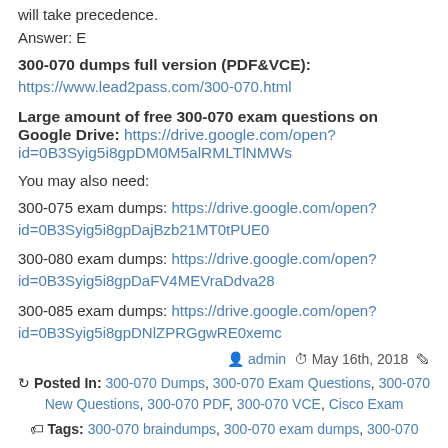will take precedence.
Answer: E
300-070 dumps full version (PDF&VCE):
https://www.lead2pass.com/300-070.html
Large amount of free 300-070 exam questions on Google Drive:
https://drive.google.com/open?id=0B3Syig5i8gpDM0M5alRMLTlNMWs
You may also need:
300-075 exam dumps: https://drive.google.com/open?id=0B3Syig5i8gpDajBzb21MT0tPUE0
300-080 exam dumps: https://drive.google.com/open?id=0B3Syig5i8gpDaFV4MEVraDdva28
300-085 exam dumps: https://drive.google.com/open?id=0B3Syig5i8gpDNlZPRGgwRE0xemc
admin  May 16th, 2018
Posted In: 300-070 Dumps, 300-070 Exam Questions, 300-070 New Questions, 300-070 PDF, 300-070 VCE, Cisco Exam
Tags: 300-070 braindumps, 300-070 exam dumps, 300-070